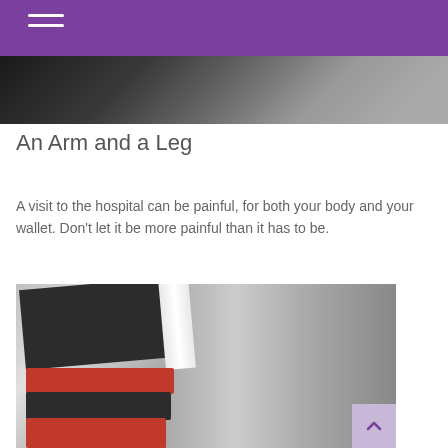[Figure (photo): Dark blurred photograph strip, top of page below header]
An Arm and a Leg
A visit to the hospital can be painful, for both your body and your wallet. Don’t let it be more painful than it has to be.
[Figure (photo): Close-up blurred photograph of stacked books with red and dark covers, pages visible on the left side, blurred grey background]